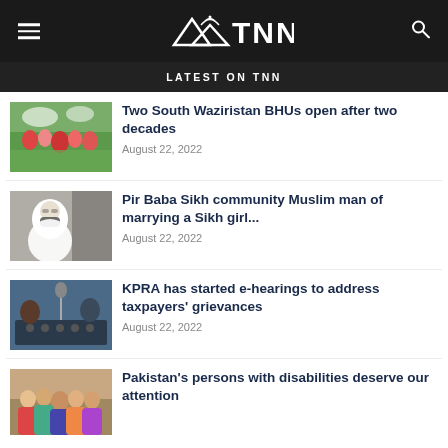TNN
LATEST ON TNN
[Figure (photo): Crowd of people outdoors with colorful clothing]
Two South Waziristan BHUs open after two decades
August 22, 2022
[Figure (photo): Person wearing white hijab and face mask]
Pir Baba Sikh community Muslim man of marrying a Sikh girl...
August 22, 2022
[Figure (photo): People in a recording studio with audio equipment]
KPRA has started e-hearings to address taxpayers' grievances
August 22, 2022
[Figure (photo): Group of people at an outdoor event]
Pakistan's persons with disabilities deserve our attention